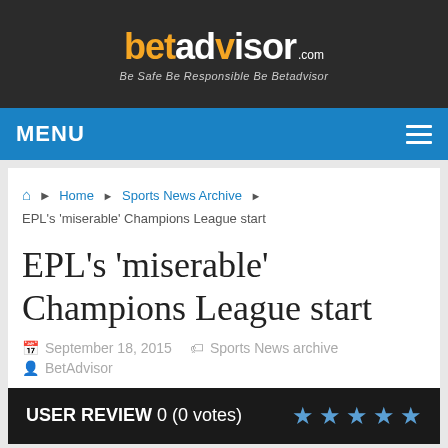betadvisor.com - Be Safe Be Responsible Be Betadvisor
MENU
Home › Sports News Archive › EPL's 'miserable' Champions League start
EPL's 'miserable' Champions League start
September 18, 2015   Sports News archive   BetAdvisor
USER REVIEW 0 (0 votes) ★★★★★